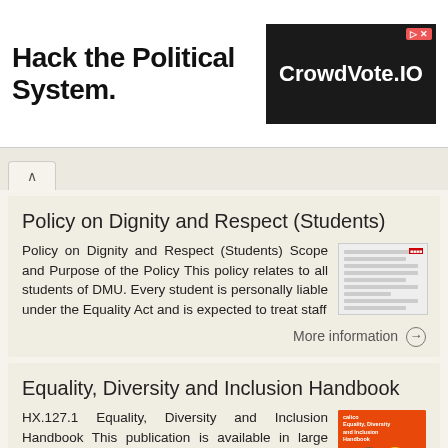[Figure (screenshot): Ad banner: 'Hack the Political System.' text on left, CrowdVote.IO logo on black background on right]
Policy on Dignity and Respect (Students)
Policy on Dignity and Respect (Students) Scope and Purpose of the Policy This policy relates to all students of DMU. Every student is personally liable under the Equality Act and is expected to treat staff
[Figure (screenshot): Thumbnail image of a policy document with text lines]
More information →
Equality, Diversity and Inclusion Handbook
HX.127.1 Equality, Diversity and Inclusion Handbook This publication is available in large print and easy read Welcome! At Calico, we are dedicated to promoting and celebrating the positive effect that
[Figure (illustration): Calico orange book cover with two illustrated figures]